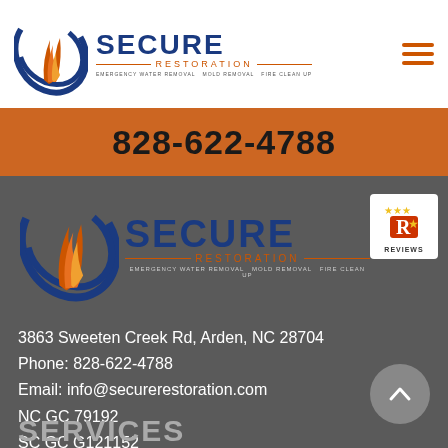[Figure (logo): Secure Restoration logo with swirl flame graphic, company name in dark blue, and tagline EMERGENCY WATER REMOVAL MOLD REMOVAL FIRE CLEAN UP]
828-622-4788
[Figure (logo): Secure Restoration logo repeated in footer on dark gray background, with Reviews badge]
3863 Sweeten Creek Rd, Arden, NC 28704
Phone: 828-622-4788
Email: info@securerestoration.com
NC GC 79192
SC GC G121152
Sitemap | Blog
SERVICES